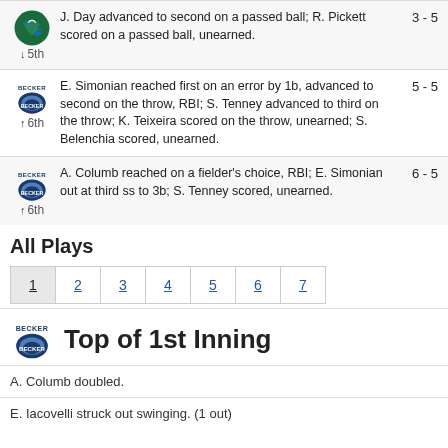↓ 5th  J. Day advanced to second on a passed ball; R. Pickett scored on a passed ball, unearned.  3 - 5
↑ 6th  E. Simonian reached first on an error by 1b, advanced to second on the throw, RBI; S. Tenney advanced to third on the throw; K. Teixeira scored on the throw, unearned; S. Belenchia scored, unearned.  5 - 5
↑ 6th  A. Columb reached on a fielder's choice, RBI; E. Simonian out at third ss to 3b; S. Tenney scored, unearned.  6 - 5
All Plays
| 1 | 2 | 3 | 4 | 5 | 6 | 7 |
| --- | --- | --- | --- | --- | --- | --- |
Top of 1st Inning
A. Columb doubled.
E. Iacovelli struck out swinging. (1 out)